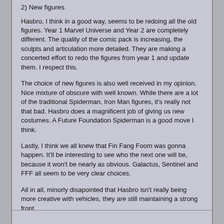2) New figures
Hasbro, I think in a good way, seems to be redoing all the old figures. Year 1 Marvel Universe and Year 2 are completely different. The quality of the comic pack is increasing, the sculpts and articulation more detailed. They are making a concerted effort to redo the figures from year 1 and update them. I respect this.
The choice of new figures is also well received in my opinion. Nice mixture of obscure with well known. While there are a lot of the traditional Spiderman, Iron Man figures, it's really not that bad. Hasbro does a magnificent job of giving us new costumes. A Future Foundation Spiderman is a good move I think.
Lastly, I think we all knew that Fin Fang Foom was gonna happen. It'll be interesting to see who the next one will be, because it won't be nearly as obvious. Galactus, Sentinel and FFF all seem to be very clear choices.
All in all, minorly disapointed that Hasbro isn't really being more creative with vehicles, they are still maintaining a strong front.